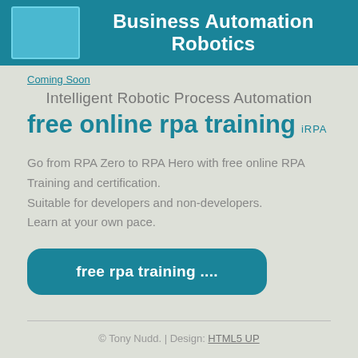Business Automation Robotics
Coming Soon
Intelligent Robotic Process Automation
free online rpa training iRPA
Go from RPA Zero to RPA Hero with free online RPA Training and certification. Suitable for developers and non-developers. Learn at your own pace.
free rpa training ....
© Tony Nudd. | Design: HTML5 UP